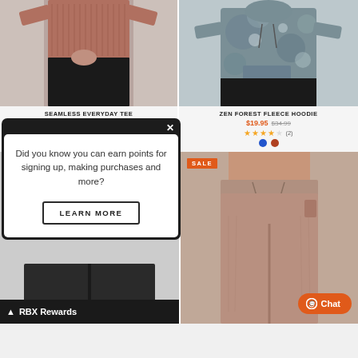[Figure (photo): Woman wearing a ribbed mauve/brown seamless long-sleeve tee with black leggings - product photo]
SEAMLESS EVERYDAY TEE
$17.95  $27.99
★★★★☆ (2)
[Figure (photo): Woman wearing a grey tie-dye fleece hoodie with black shorts - product photo]
ZEN FOREST FLEECE HOODIE
$19.95  $34.99
★★★★☆ (2)
[Figure (photo): Popup modal with dark border and white interior - loyalty rewards notification]
Did you know you can earn points for signing up, making purchases and more?
LEARN MORE
[Figure (photo): Woman wearing mauve/dusty rose flare sweatpants - product photo with SALE badge]
SALE
▲ RBX Rewards
Chat